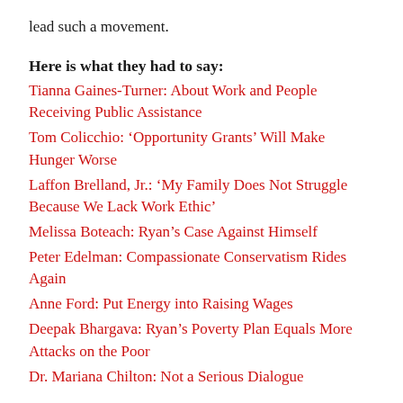lead such a movement.
Here is what they had to say:
Tianna Gaines-Turner: About Work and People Receiving Public Assistance
Tom Colicchio: ‘Opportunity Grants’ Will Make Hunger Worse
Laffon Brelland, Jr.: ‘My Family Does Not Struggle Because We Lack Work Ethic’
Melissa Boteach: Ryan’s Case Against Himself
Peter Edelman: Compassionate Conservatism Rides Again
Anne Ford: Put Energy into Raising Wages
Deepak Bhargava: Ryan’s Poverty Plan Equals More Attacks on the Poor
Dr. Mariana Chilton: Not a Serious Dialogue